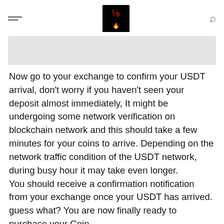[hamburger menu] [logo] [search icon]
[Figure (screenshot): Grey placeholder image strip at top of article content]
Now go to your exchange to confirm your USDT arrival, don't worry if you haven't seen your deposit almost immediately, It might be undergoing some network verification on blockchain network and this should take a few minutes for your coins to arrive. Depending on the network traffic condition of the USDT network, during busy hour it may take even longer.
You should receive a confirmation notification from your exchange once your USDT has arrived. guess what? You are now finally ready to purchase your Coin